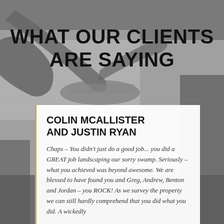[Figure (photo): Grayscale background photo of a construction/landscaping scene with heavy machinery (excavator arm), a car, and trees/hedges.]
WHAT OUR CLIENTS ARE SAYING
COLIN MCALLISTER AND JUSTIN RYAN
Chaps – You didn't just do a good job... you did a GREAT job landscaping our sorry swamp. Seriously – what you achieved was beyond awesome. We are blessed to have found you and Greg, Andrew, Benton and Jordan – you ROCK! As we survey the property we can still hardly comprehend that you did what you did. A wickedly